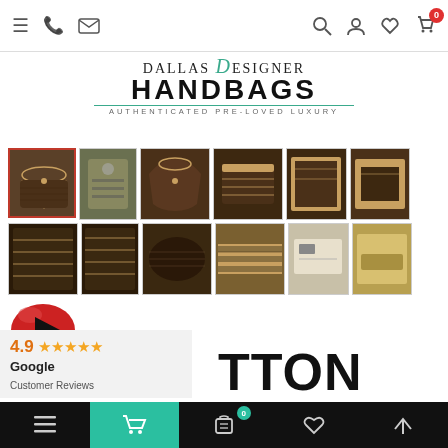Dallas Designer Handbags - Authenticated Pre-Loved Luxury - navigation bar with menu, phone, email, search, account, wishlist, cart icons
[Figure (logo): Dallas Designer Handbags logo with teal cursive D, bold black HANDBAGS text, and subtitle AUTHENTICATED PRE-LOVED LUXURY]
[Figure (photo): Product image gallery showing 12 thumbnail photos of a Louis Vuitton monogram hobo handbag from various angles including front, back, interior, zipper, and detail shots. First thumbnail is selected with red border.]
[Figure (other): Video play button thumbnail - red oval shape with black play triangle]
4.9 ★★★★★ Google Customer Reviews
TTON
Bottom navigation bar with menu, cart (active teal), bag with 0, heart, and up-arrow icons